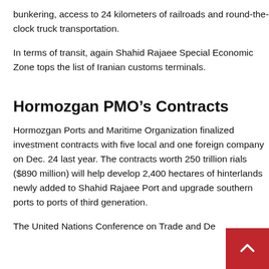bunkering, access to 24 kilometers of railroads and round-the-clock truck transportation.
In terms of transit, again Shahid Rajaee Special Economic Zone tops the list of Iranian customs terminals.
Hormozgan PMO’s Contracts
Hormozgan Ports and Maritime Organization finalized investment contracts with five local and one foreign company on Dec. 24 last year. The contracts worth 250 trillion rials ($890 million) will help develop 2,400 hectares of hinterlands newly added to Shahid Rajaee Port and upgrade southern ports to ports of third generation.
The United Nations Conference on Trade and Development